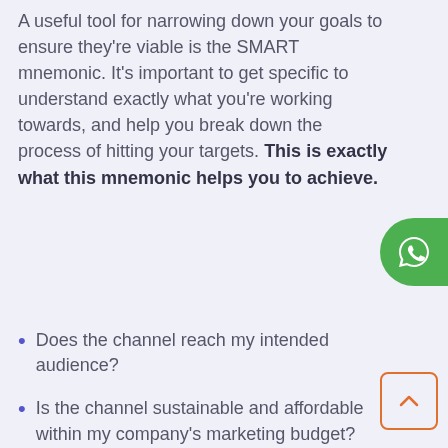A useful tool for narrowing down your goals to ensure they're viable is the SMART mnemonic. It's important to get specific to understand exactly what you're working towards, and help you break down the process of hitting your targets. This is exactly what this mnemonic helps you to achieve.
Does the channel reach my intended audience?
Is the channel sustainable and affordable within my company's marketing budget?
Will I be able to measure the success of the channel?